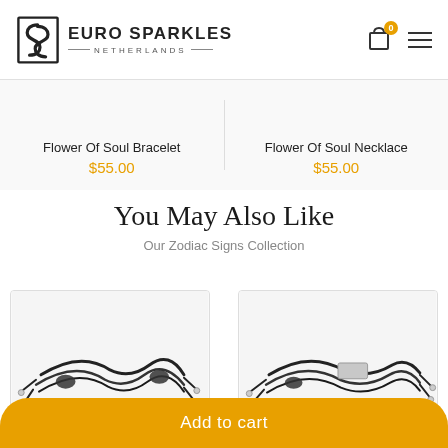[Figure (logo): Euro Sparkles Netherlands logo with stylized S icon and text]
Flower Of Soul Bracelet
$55.00
Flower Of Soul Necklace
$55.00
You May Also Like
Our Zodiac Signs Collection
[Figure (photo): Black cord bracelet with adjustable sliding knots and silver ends]
[Figure (photo): Black cord bracelet with silver rectangular pendant and adjustable knots]
Add to cart